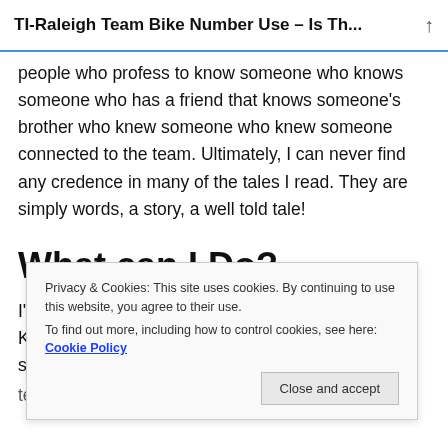TI-Raleigh Team Bike Number Use – Is Th...
people who profess to know someone who knows someone who has a friend that knows someone's brother who knew someone who knew someone connected to the team. Ultimately, I can never find any credence in many of the tales I read. They are simply words, a story, a well told tale!
What can I Do?
I've decided to try and use HK.2.76, my Hennie Kuiper bike, in an attempt to clarify, or at least cast some reasonable
team, but HK.2.76 might help on this occasion.
Privacy & Cookies: This site uses cookies. By continuing to use this website, you agree to their use. To find out more, including how to control cookies, see here: Cookie Policy